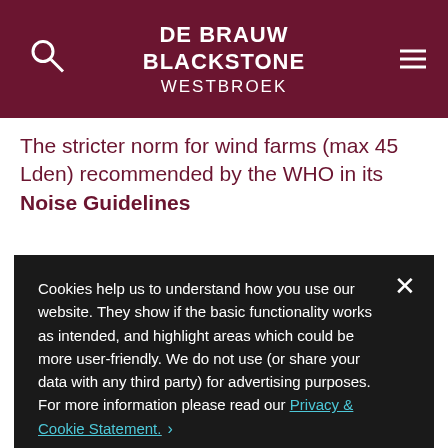DE BRAUW BLACKSTONE WESTBROEK
The stricter norm for wind farms (max 45 Lden) recommended by the WHO in its Noise Guidelines
Cookies help us to understand how you use our website. They show if the basic functionality works as intended, and highlight areas which could be more user-friendly. We do not use (or share your data with any third party) for advertising purposes. For more information please read our Privacy & Cookie Statement. ›

CHANGE SETTINGS ›    ACCEPT
Oostermoer – that the precautionary principle "does not